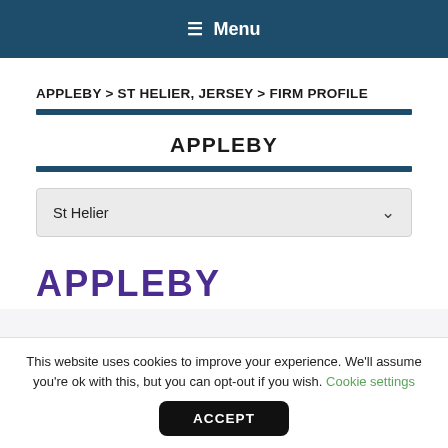≡ Menu
APPLEBY > ST HELIER, JERSEY > FIRM PROFILE
APPLEBY
St Helier
[Figure (logo): Appleby logo in purple large bold text]
This website uses cookies to improve your experience. We'll assume you're ok with this, but you can opt-out if you wish. Cookie settings
ACCEPT